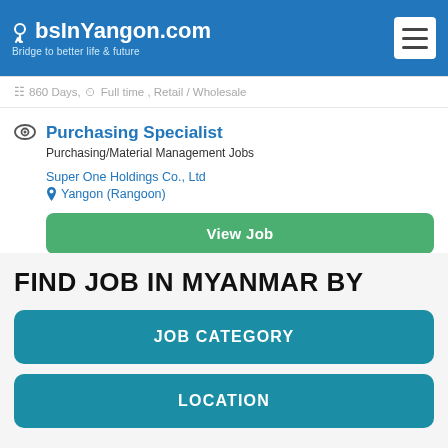JobsInYangon.com — Bridge to better life & future
860 Days, Full time , Retail / Wholesale
Purchasing Specialist
Purchasing/Material Management Jobs
Super One Holdings Co., Ltd
Yangon (Rangoon)
View Job
860 Days, Full time , Retail / Wholesale
FIND JOB IN MYANMAR BY
JOB CATEGORY
LOCATION